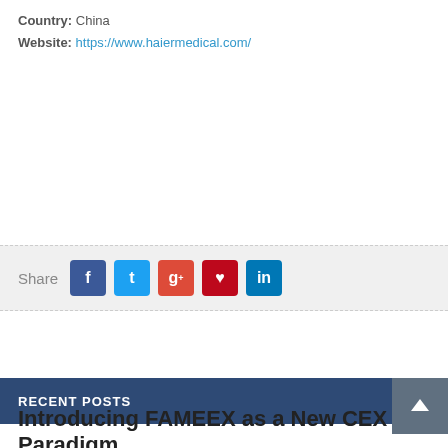Country: China
Website: https://www.haiermedical.com/
[Figure (infographic): Social share bar with Share label and buttons for Facebook, Twitter, Google+, Pinterest, LinkedIn]
RECENT POSTS
Introducing FAMEEX as a New CEX Paradigm and Innovations in Quant Strategies